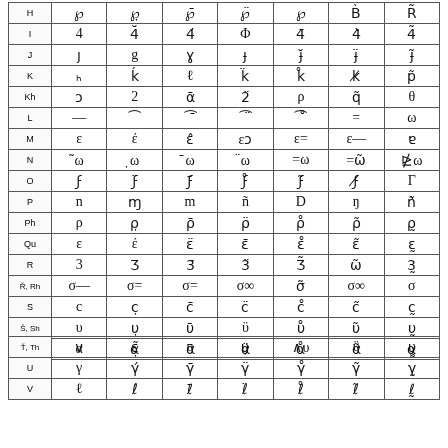|  | 1 | 2 | 3 | 4 | 5 | 6 | 7 |
| --- | --- | --- | --- | --- | --- | --- | --- |
| H | ℘ | ℘̣ | ℘̄ | ℘̈ | ℘ | ℬ | ℘ |
| I | 4 | 4̣ | 4̄ | Φ | 4̈ | 4̊ | 4̃ |
| J | ȷ | g | ɣ | ɟ | ȷ̈ | ɟ̈ | ɟ̃ |
| K | ℘ | ℘̣ | ℓ | ℘̈ | ℘̊ | ℘̈ | ℘̃ |
| Kh | ɔ | ɔ̣ | ɔ̄ | ɔ̈ | ρ | q̃ | θ |
| L | — | ⌣ | ⌣̄ | ⌣̈ | ⌣̊ | = | ω |
| M | ε | ε̃ | ε̄ | εɔ | ε= | ε— | ∂ |
| N | ω̃ | ω̣ | ω̄ | ω̈ | =ω | =ω̃ | ∷ω |
| O | Ϝ | Ϝ̈ | Ϝ̄ | Ϝ̊ | Ϝ̃ | Ϝ̤ | Γ |
| P | n | η | nv | ñ | D | ŋ | ñ |
| Ph | ρ | ρ̣ | ρ̄ | ρ̈ | ρ̊ | ρ̃ | ρ̤ |
| Qu | ε | ε̣ | ε̄ | ε̈ | ε̊ | ε̃ | ε̤ |
| R | 3 | ȝ | 3̄ | 3̈ | ȝ̃ | ω̃ | 3̤ |
| Ř, Rh | σ— | σ= | σ= | σ∞ | σ̃ | σ∞ | σ |
| S | c | c̣ | c̄ | c̈ | c̊ | c̃ | c̤ |
| Š, Sh | υ | υ̣ | ῡ | ϋ | υ̊ | υ̃ | υ̤ |
| T | α | α̣ | ᾱ | α̈ | α̊ | α̃ | α̤ |
|  | 1 | 2 | 3 | 4 | 5 | 6 | 7 |
| --- | --- | --- | --- | --- | --- | --- | --- |
| Ť, Th | ∨ | ε̃ | υ | υ̣ | ∧υ | ϋ | υ̤ |
| U | γ | γ̣ | γ̄ | γ̈ | γ̊ | γ̃ | γ̤ |
| V | ℓ | ℓ̣ | ℓ̄ | ℓ̈ | ℓ̊ | ℓ̃ | ℓ̤ |